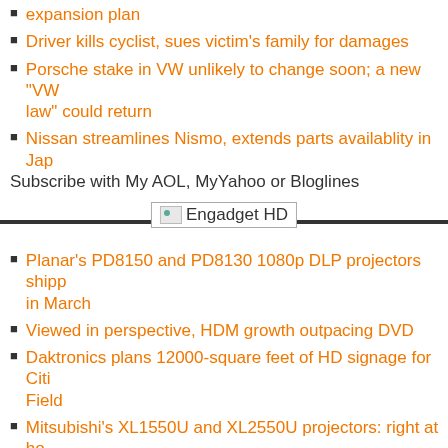expansion plan
Driver kills cyclist, sues victim's family for damages
Porsche stake in VW unlikely to change soon; a new "VW law" could return
Nissan streamlines Nismo, extends parts availablity in Jap
Subscribe with My AOL, MyYahoo or Bloglines
[Figure (other): Engadget HD section divider with horizontal rule and label]
Planar's PD8150 and PD8130 1080p DLP projectors shipp in March
Viewed in perspective, HDM growth outpacing DVD
Daktronics plans 12000-square feet of HD signage for Citi Field
Mitsubishi's XL1550U and XL2550U projectors: right at ho outside of homes
HDTV Listings for January 29, 2008